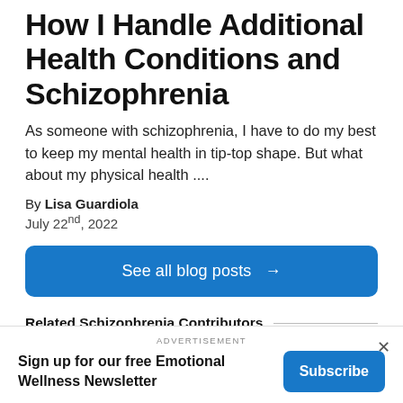How I Handle Additional Health Conditions and Schizophrenia
As someone with schizophrenia, I have to do my best to keep my mental health in tip-top shape. But what about my physical health ....
By Lisa Guardiola
July 22nd, 2022
See all blog posts →
Related Schizophrenia Contributors
ADVERTISEMENT
Sign up for our free Emotional Wellness Newsletter
Subscribe